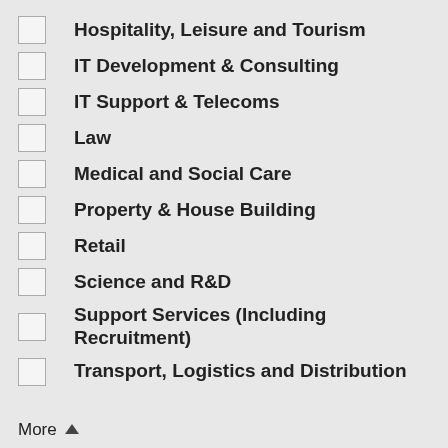Hospitality, Leisure and Tourism
IT Development & Consulting
IT Support & Telecoms
Law
Medical and Social Care
Property & House Building
Retail
Science and R&D
Support Services (Including Recruitment)
Transport, Logistics and Distribution
More ∧